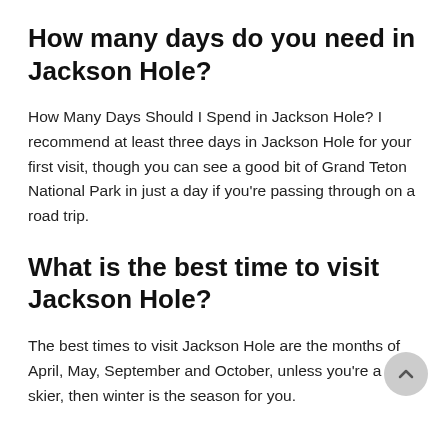How many days do you need in Jackson Hole?
How Many Days Should I Spend in Jackson Hole? I recommend at least three days in Jackson Hole for your first visit, though you can see a good bit of Grand Teton National Park in just a day if you're passing through on a road trip.
What is the best time to visit Jackson Hole?
The best times to visit Jackson Hole are the months of April, May, September and October, unless you're a skier, then winter is the season for you.